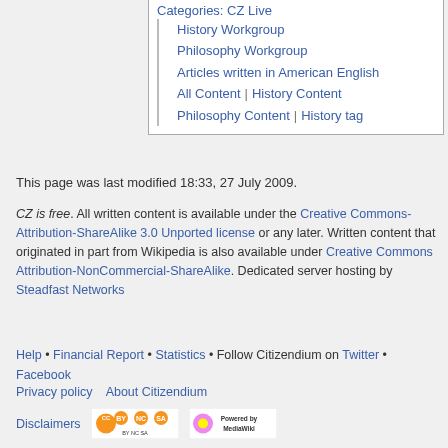Categories: CZ Live
History Workgroup
Philosophy Workgroup
Articles written in American English
All Content | History Content
Philosophy Content | History tag
This page was last modified 18:33, 27 July 2009.
CZ is free. All written content is available under the Creative Commons-Attribution-ShareAlike 3.0 Unported license or any later. Written content that originated in part from Wikipedia is also available under Creative Commons Attribution-NonCommercial-ShareAlike. Dedicated server hosting by Steadfast Networks
Help • Financial Report • Statistics • Follow Citizendium on Twitter • Facebook
Privacy policy    About Citizendium
Disclaimers
[Figure (logo): Creative Commons BY-NC-SA license badge]
[Figure (logo): Powered by MediaWiki badge]